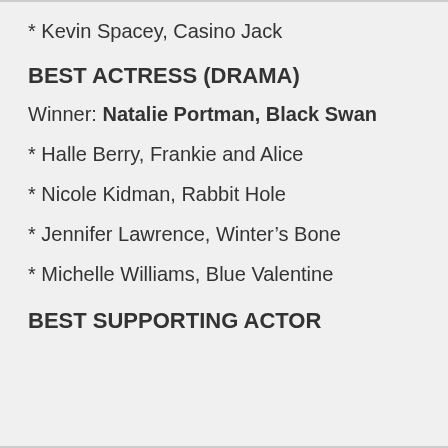* Kevin Spacey, Casino Jack
BEST ACTRESS (DRAMA)
Winner: Natalie Portman, Black Swan
* Halle Berry, Frankie and Alice
* Nicole Kidman, Rabbit Hole
* Jennifer Lawrence, Winter’s Bone
* Michelle Williams, Blue Valentine
BEST SUPPORTING ACTOR